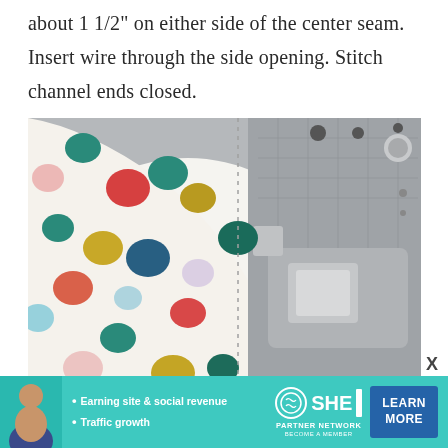about 1 1/2" on either side of the center seam. Insert wire through the side opening. Stitch channel ends closed.
[Figure (photo): Close-up photo of a white polka-dot fabric (with teal, red, coral, gold, pink, and light blue dots) being sewn on a sewing machine, showing a stitched channel seam running vertically through the fabric. The sewing machine bed and presser foot are visible in the background.]
X
[Figure (other): Advertisement banner for SHE Partner Network. Shows a woman portrait on the left, bullet points 'Earning site & social revenue' and 'Traffic growth', the SHE media logo, and a 'LEARN MORE / BECOME A MEMBER' button.]